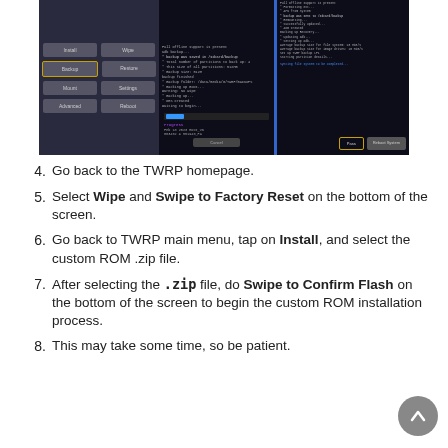[Figure (screenshot): Three Android phone screenshots showing TWRP recovery interface: left shows main menu with Install, Wipe, Backup (highlighted), Restore, Mount, Settings, Advanced, Reboot buttons; middle shows a terminal/backup progress screen with progress bar and Cancel button; right shows terminal output with flash/reboot buttons at bottom, flash button highlighted.]
4. Go back to the TWRP homepage.
5. Select Wipe and Swipe to Factory Reset on the bottom of the screen.
6. Go back to TWRP main menu, tap on Install, and select the custom ROM .zip file.
7. After selecting the .zip file, do Swipe to Confirm Flash on the bottom of the screen to begin the custom ROM installation process.
8. This may take some time, so be patient.